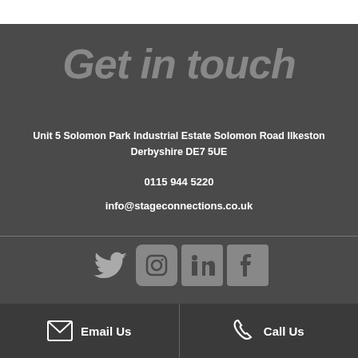Get in touch
Unit 5 Solomon Park Industrial Estate Solomon Road Ilkeston Derbyshire DE7 5UE
0115 944 5220
info@stageconnections.co.uk
[Figure (infographic): Social media icons row: Twitter, Instagram, LinkedIn, Facebook]
Email Us | Call Us